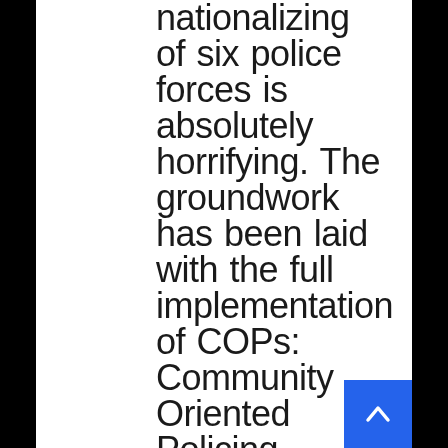nationalizing of six police forces is absolutely horrifying. The groundwork has been laid with the full implementation of COPs: Community Oriented Policing nationwide, now it's time for the